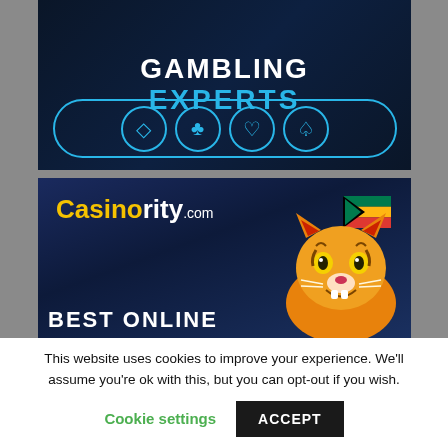[Figure (illustration): Gambling Experts banner with dark blue background, text 'GAMBLING EXPERTS' and four card suit symbols (diamond, club, heart, spade) in glowing blue circles with neon border]
[Figure (illustration): Casinority.com banner with dark blue background, yellow and white logo text, South African flag arrow logo, animated tiger character, and 'BEST ONLINE' text at bottom]
This website uses cookies to improve your experience. We'll assume you're ok with this, but you can opt-out if you wish.
Cookie settings
ACCEPT